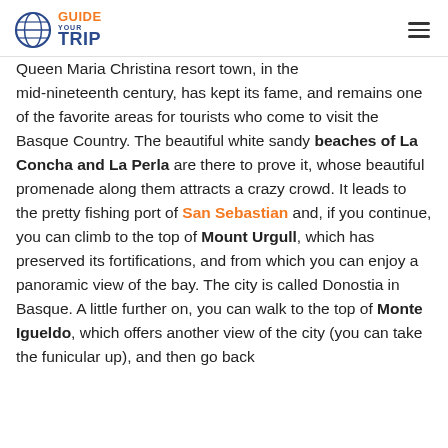Guide Your Trip (logo) | hamburger menu
Queen Maria Christina resort town, in the mid-nineteenth century, has kept its fame, and remains one of the favorite areas for tourists who come to visit the Basque Country. The beautiful white sandy beaches of La Concha and La Perla are there to prove it, whose beautiful promenade along them attracts a crazy crowd. It leads to the pretty fishing port of San Sebastian and, if you continue, you can climb to the top of Mount Urgull, which has preserved its fortifications, and from which you can enjoy a panoramic view of the bay. The city is called Donostia in Basque. A little further on, you can walk to the top of Monte Igueldo, which offers another view of the city (you can take the funicular up), and then go back